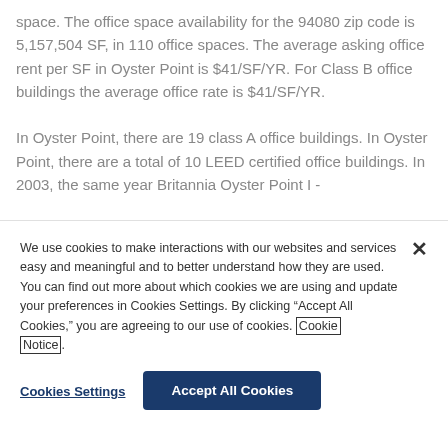space. The office space availability for the 94080 zip code is 5,157,504 SF, in 110 office spaces. The average asking office rent per SF in Oyster Point is $41/SF/YR. For Class B office buildings the average office rate is $41/SF/YR.
In Oyster Point, there are 19 class A office buildings. In Oyster Point, there are a total of 10 LEED certified office buildings. In 2003, the same year Britannia Oyster Point I -
We use cookies to make interactions with our websites and services easy and meaningful and to better understand how they are used. You can find out more about which cookies we are using and update your preferences in Cookies Settings. By clicking “Accept All Cookies,” you are agreeing to our use of cookies. Cookie Notice.
Cookies Settings
Accept All Cookies